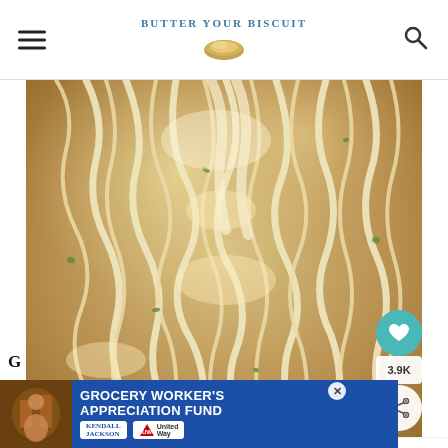BUTTER YOUR BISCUIT
[Figure (photo): Close-up photo of creamy pasta noodles (fettuccine/linguine) with herbs, being lifted, with a 'Butter Your Biscuit' watermark in the bottom left. Social share buttons (heart icon at 3.9K) visible at right edge.]
3.9K
WHAT'S NEXT → Chopped
[Figure (photo): Advertisement banner: Grocery Worker's Appreciation Fund with Kendall Jackson and United Way logos.]
GROCERY WORKER'S APPRECIATION FUND